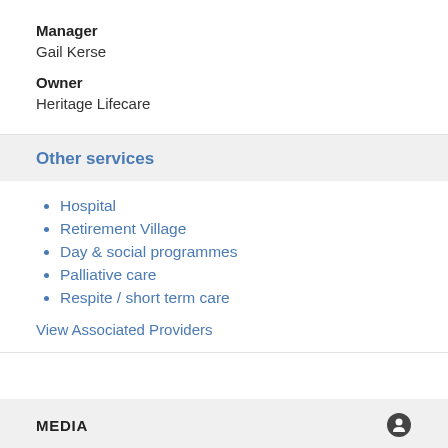Manager
Gail Kerse
Owner
Heritage Lifecare
Other services
Hospital
Retirement Village
Day & social programmes
Palliative care
Respite / short term care
View Associated Providers
MEDIA